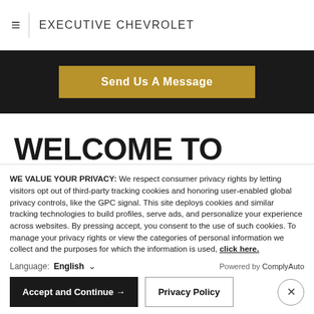≡ | EXECUTIVE CHEVROLET
[Figure (screenshot): Dark banner with gold 'Send Us A Message' button]
WELCOME TO EXECUTIVE CHEVROLET
Thank you for making your way to Executive Chevrolet, your...
WE VALUE YOUR PRIVACY: We respect consumer privacy rights by letting visitors opt out of third-party tracking cookies and honoring user-enabled global privacy controls, like the GPC signal. This site deploys cookies and similar tracking technologies to build profiles, serve ads, and personalize your experience across websites. By pressing accept, you consent to the use of such cookies. To manage your privacy rights or view the categories of personal information we collect and the purposes for which the information is used, click here.
Language: English ∨ Powered by ComplyAuto
Accept and Continue → | Privacy Policy | ×